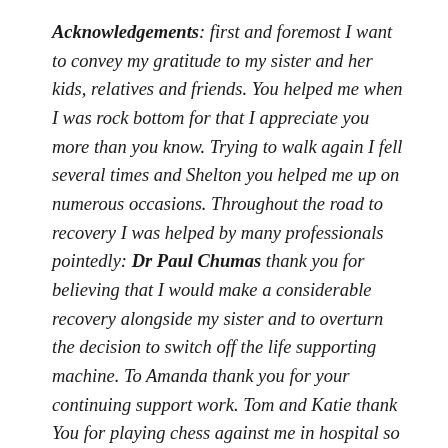Acknowledgements: first and foremost I want to convey my gratitude to my sister and her kids, relatives and friends. You helped me when I was rock bottom for that I appreciate you more than you know. Trying to walk again I fell several times and Shelton you helped me up on numerous occasions. Throughout the road to recovery I was helped by many professionals pointedly: Dr Paul Chumas thank you for believing that I would make a considerable recovery alongside my sister and to overturn the decision to switch off the life supporting machine. To Amanda thank you for your continuing support work. Tom and Katie thank You for playing chess against me in hospital so too I convey my gratitude to NHS particularly staff for showing a brother some love. Shout out to the retired lecture from